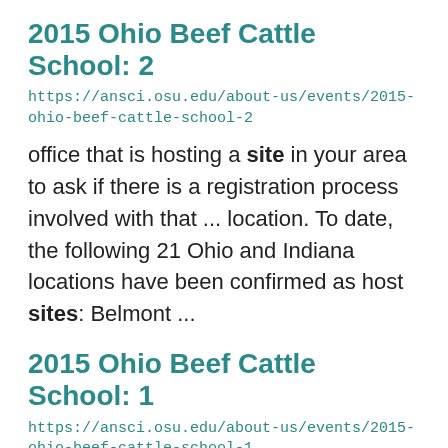2015 Ohio Beef Cattle School: 2
https://ansci.osu.edu/about-us/events/2015-ohio-beef-cattle-school-2
office that is hosting a site in your area to ask if there is a registration process involved with that ... location. To date, the following 21 Ohio and Indiana locations have been confirmed as host sites: Belmont ...
2015 Ohio Beef Cattle School: 1
https://ansci.osu.edu/about-us/events/2015-ohio-beef-cattle-school-1
office that is hosting a site in your area to ask if there is a registration process involved with that ... To date, the